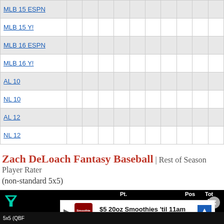|  |  |  |  |  |  |  |  |  |  |  |
| --- | --- | --- | --- | --- | --- | --- | --- | --- | --- | --- |
| MLB 15 ESPN |  |  |  |  |  |  |  |  |  |  |
| MLB 15 Y! |  |  |  |  |  |  |  |  |  |  |
| MLB 16 ESPN |  |  |  |  |  |  |  |  |  |  |
| MLB 16 Y! |  |  |  |  |  |  |  |  |  |  |
| AL 10 |  |  |  |  |  |  |  |  |  |  |
| NL 10 |  |  |  |  |  |  |  |  |  |  |
| AL 12 |  |  |  |  |  |  |  |  |  |  |
| NL 12 |  |  |  |  |  |  |  |  |  |  |
Zach DeLoach Fantasy Baseball | Rest of Season Player Rater (non-standard 5x5)
[Figure (screenshot): Bottom navigation bar with column headers (Pt., Pos, Tot Rk) and an advertisement overlay for Smoothie King ($5 20oz Smoothies 'til 11am) with a close button and filter icon.]